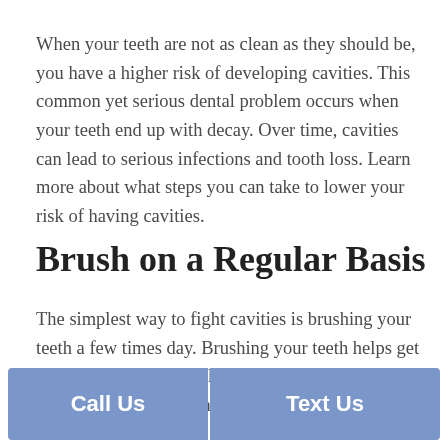When your teeth are not as clean as they should be, you have a higher risk of developing cavities. This common yet serious dental problem occurs when your teeth end up with decay. Over time, cavities can lead to serious infections and tooth loss. Learn more about what steps you can take to lower your risk of having cavities.
Brush on a Regular Basis
The simplest way to fight cavities is brushing your teeth a few times day. Brushing your teeth helps get rid of food that can stick to your teeth and attract bacteria. When bacteria attack your teeth, they can start to... and br... r each meal i... elps... r of